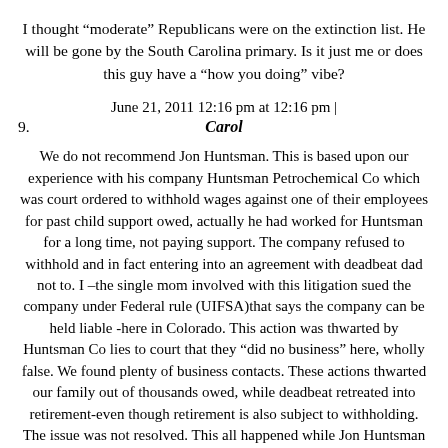I thought "moderate" Republicans were on the extinction list. He will be gone by the South Carolina primary. Is it just me or does this guy have a "how you doing" vibe?
June 21, 2011 12:16 pm at 12:16 pm |
9.	Carol
We do not recommend Jon Huntsman. This is based upon our experience with his company Huntsman Petrochemical Co which was court ordered to withhold wages against one of their employees for past child support owed, actually he had worked for Huntsman for a long time, not paying support. The company refused to withhold and in fact entering into an agreement with deadbeat dad not to. I –the single mom involved with this litigation sued the company under Federal rule (UIFSA)that says the company can be held liable -here in Colorado. This action was thwarted by Huntsman Co lies to court that they "did no business" here, wholly false. We found plenty of business contacts. These actions thwarted our family out of thousands owed, while deadbeat retreated into retirement-even though retirement is also subject to withholding. The issue was not resolved. This all happened while Jon Huntsman was CEO , the attitude of the company was a total diregard for the law, and the mindset of what would a single mom do to confront this